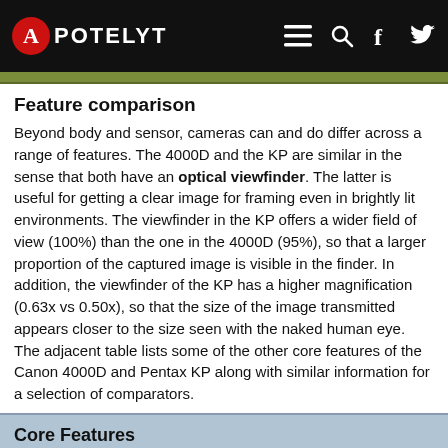APOTELYT
Feature comparison
Beyond body and sensor, cameras can and do differ across a range of features. The 4000D and the KP are similar in the sense that both have an optical viewfinder. The latter is useful for getting a clear image for framing even in brightly lit environments. The viewfinder in the KP offers a wider field of view (100%) than the one in the 4000D (95%), so that a larger proportion of the captured image is visible in the finder. In addition, the viewfinder of the KP has a higher magnification (0.63x vs 0.50x), so that the size of the image transmitted appears closer to the size seen with the naked human eye. The adjacent table lists some of the other core features of the Canon 4000D and Pentax KP along with similar information for a selection of comparators.
Core Features